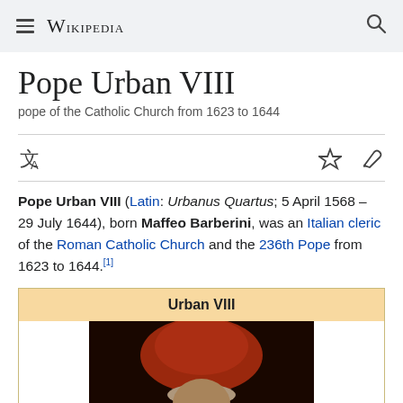Wikipedia
Pope Urban VIII
pope of the Catholic Church from 1623 to 1644
Pope Urban VIII (Latin: Urbanus Quartus; 5 April 1568 – 29 July 1644), born Maffeo Barberini, was an Italian cleric of the Roman Catholic Church and the 236th Pope from 1623 to 1644.[1]
| Urban VIII |
| --- |
| [portrait image] |